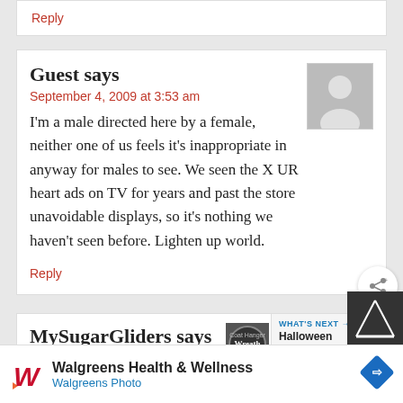Reply
Guest says
September 4, 2009 at 3:53 am
I'm a male directed here by a female, neither one of us feels it's inappropriate in anyway for males to see. We seen the X UR heart ads on TV for years and past the store unavoidable displays, so it's nothing we haven't seen before. Lighten up world.
Reply
MySugarGliders says
August 28, 2009 at 2:15 am
I love the idea and to you who think its gross
WHAT'S NEXT → Halloween Coat Hanger...
Walgreens Health & Wellness Walgreens Photo